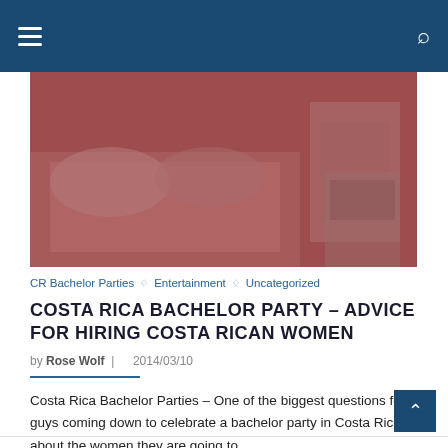Navigation bar with hamburger menu and search icon
[Figure (photo): Hero image showing a room with pink/red tones, appears to be a bedroom scene with warm reddish lighting]
CR Bachelor Parties ◇ Entertainment ◇ Uncategorized
COSTA RICA BACHELOR PARTY – ADVICE FOR HIRING COSTA RICAN WOMEN
by Rose Wolf | 2014/03/10
Costa Rica Bachelor Parties – One of the biggest questions for guys coming down to celebrate a bachelor party in Costa Rica is about the women they are going to…